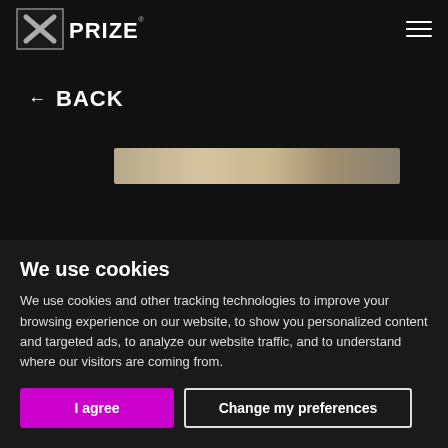XPRIZE
← BACK
[Figure (photo): Partial image strip showing rope or twisted material with beige/golden tones]
We use cookies
We use cookies and other tracking technologies to improve your browsing experience on our website, to show you personalized content and targeted ads, to analyze our website traffic, and to understand where our visitors are coming from.
I agree
Change my preferences